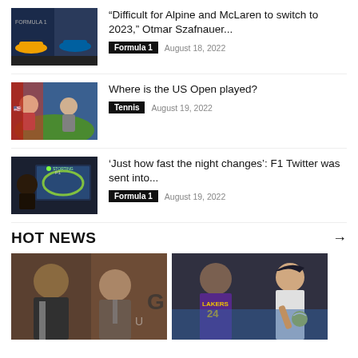[Figure (photo): Formula 1 race cars (Alpine and McLaren) on track]
“Difficult for Alpine and McLaren to switch to 2023,” Otmar Szafnauer...
Formula 1   August 18, 2022
[Figure (photo): Tennis players at US Open stadium]
Where is the US Open played?
Tennis   August 19, 2022
[Figure (photo): Person watching F1 race on screen]
‘Just how fast the night changes’: F1 Twitter was sent into...
Formula 1   August 19, 2022
HOT NEWS
[Figure (photo): Basketball player (Kevin Durant) and a smiling man in suit]
[Figure (photo): Basketball player in Lakers jersey #24 (Kobe Bryant) and tennis player]